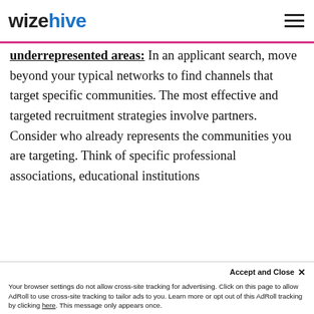wizehive
underrepresented areas: In an applicant search, move beyond your typical networks to find channels that target specific communities. The most effective and targeted recruitment strategies involve partners. Consider who already represents the communities you are targeting. Think of specific professional associations, educational institutions
In order to provide you with the best experience, this website stores cookies on your computer. To find out more about how we use cookies and related data, please visit our Privacy Policy.
Accept and Close ✕
Your browser settings do not allow cross-site tracking for advertising. Click on this page to allow AdRoll to use cross-site tracking to tailor ads to you. Learn more or opt out of this AdRoll tracking by clicking here. This message only appears once.